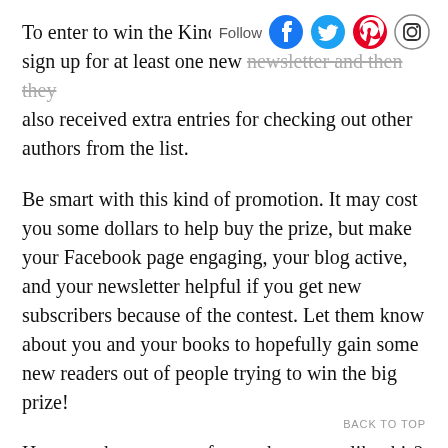To enter to win the Kindle, in sign up for at least one new newsletter and then they also received extra entries for checking out other authors from the list.
Be smart with this kind of promotion. It may cost you some dollars to help buy the prize, but make your Facebook page engaging, your blog active, and your newsletter helpful if you get new subscribers because of the contest. Let them know about you and your books to hopefully gain some new readers out of people trying to win the big prize!
Have you been a part of an author group like this? What did you do to join together?
BACK TO TOP